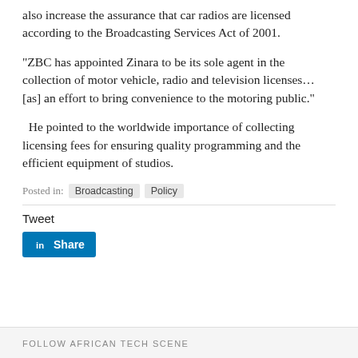also increase the assurance that car radios are licensed according to the Broadcasting Services Act of 2001.
“ZBC has appointed Zinara to be its sole agent in the collection of motor vehicle, radio and television licenses… [as] an effort to bring convenience to the motoring public.”
He pointed to the worldwide importance of collecting licensing fees for ensuring quality programming and the efficient equipment of studios.
Posted in:  Broadcasting  Policy
Tweet
[Figure (other): LinkedIn Share button with LinkedIn logo icon]
FOLLOW AFRICAN TECH SCENE